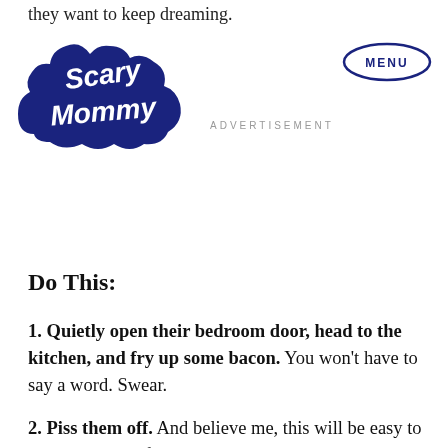they want to keep dreaming.
[Figure (logo): Scary Mommy logo — white cursive text on dark navy cloud-shaped background]
[Figure (other): MENU button — dark navy oval outline with bold uppercase MENU text]
ADVERTISEMENT
Do This:
1. Quietly open their bedroom door, head to the kitchen, and fry up some bacon. You won't have to say a word. Swear.
2. Piss them off. And believe me, this will be easy to do, regardless of how well-meaning you